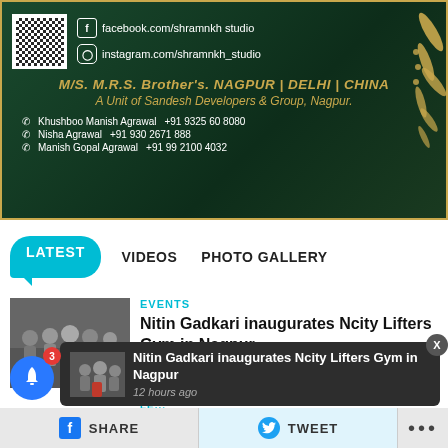[Figure (advertisement): Business advertisement banner with dark green background and gold decorative leaves. Shows QR code, Facebook and Instagram social links, company name M/S. M.R.S. Brother's NAGPUR | DELHI | CHINA, A Unit of Sandesh Developers & Group, Nagpur. Contact details for Khushboo Manish Agrawal +91 9325 60 8080, Nisha Agrawal +91 930 2671 888, Manish Gopal Agrawal +91 99 2100 4032.]
LATEST   VIDEOS   PHOTO GALLERY
EVENTS
Nitin Gadkari inaugurates Ncity Lifters Gym in Nagpur
[Figure (photo): Thumbnail photo of people at a gym inauguration event with a red stand/ribbon]
[Figure (screenshot): Notification popup showing: Nitin Gadkari inaugurates Ncity Lifters Gym in Nagpur, 12 hours ago]
SHARE   TWEET   ...